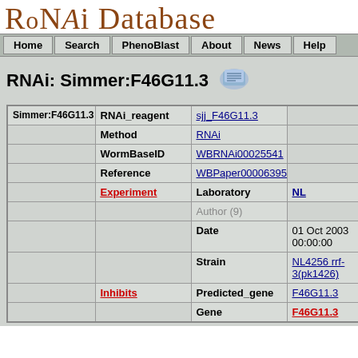[Figure (logo): RNAi Database decorative text logo in brown serif font]
Home | Search | PhenoBlast | About | News | Help
RNAi: Simmer:F46G11.3
| Col1 | Col2 | Col3 | Col4 |
| --- | --- | --- | --- |
| Simmer:F46G11.3 | RNAi_reagent | sjj_F46G11.3 |  |
|  | Method | RNAi |  |
|  | WormBaseID | WBRNAi00025541 |  |
|  | Reference | WBPaper00006395 |  |
|  | Experiment | Laboratory | NL |
|  |  | Author (9) |  |
|  |  | Date | 01 Oct 2003 00:00:00 |
|  |  | Strain | NL4256 rrf-3(pk1426) |
|  | Inhibits | Predicted_gene | F46G11.3 |
|  |  | Gene | F46G11.3 |